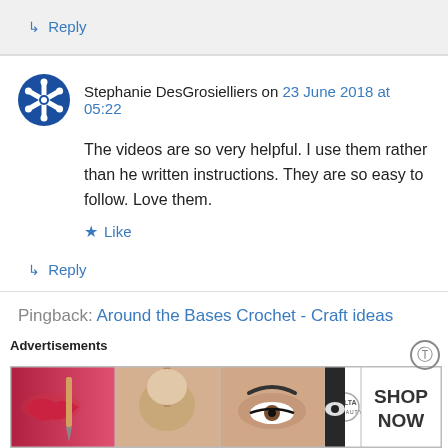↳ Reply
Stephanie DesGrosielliers on 23 June 2018 at 05:22
The videos are so very helpful. I use them rather than he written instructions. They are so easy to follow. Love them.
★ Like
↳ Reply
Pingback: Around the Bases Crochet - Craft ideas
Advertisements